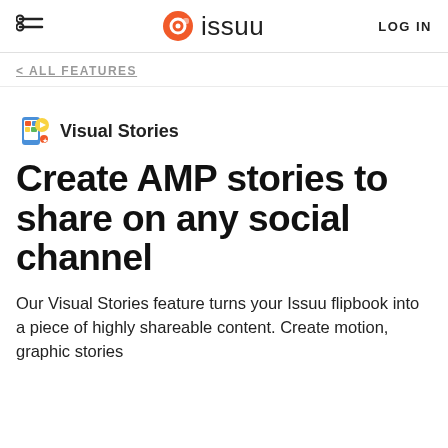issuu  LOG IN
< ALL FEATURES
Visual Stories
Create AMP stories to share on any social channel
Our Visual Stories feature turns your Issuu flipbook into a piece of highly shareable content. Create motion, graphic stories